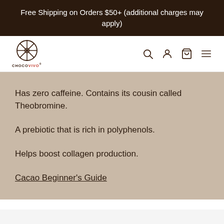Free Shipping on Orders $50+ (additional charges may apply)
[Figure (logo): ChocoVivo logo with circular geometric icon and brand name below]
Has zero caffeine. Contains its cousin called Theobromine.
A prebiotic that is rich in polyphenols.
Helps boost collagen production.
Cacao Beginner's Guide